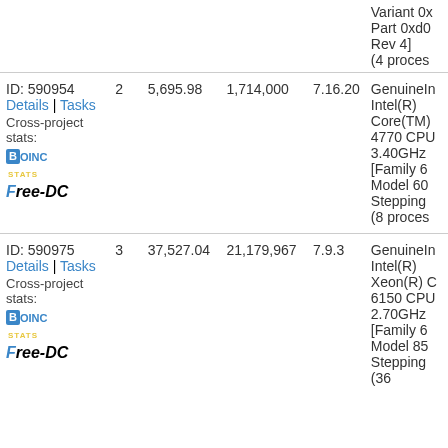| Computer | Tasks | Credit | Total Credit | Version | CPU |
| --- | --- | --- | --- | --- | --- |
| [partial] Variant 0x... Part 0xd0... Rev 4] (4 proces... |  |  |  |  |  |
| ID: 590954
Details | Tasks
Cross-project stats: | 2 | 5,695.98 | 1,714,000 | 7.16.20 | GenuineIn...
Intel(R)
Core(TM)
4770 CPU
3.40GHz
[Family 6
Model 60
Stepping ...
(8 proces... |
| ID: 590975
Details | Tasks
Cross-project stats: | 3 | 37,527.04 | 21,179,967 | 7.9.3 | GenuineIn...
Intel(R)
Xeon(R) C...
6150 CPU
2.70GHz
[Family 6
Model 85
Stepping ...
(36 ... |